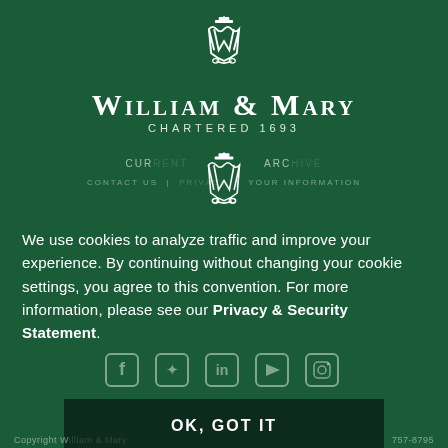[Figure (logo): William & Mary crowned monogram crest at top]
William & Mary
Chartered 1693
[Figure (logo): William & Mary crowned monogram crest in navigation area]
CURRENT ARCHIVE
CONTACT US  |  PRIVACY  |  YOUR INFORMATION
We use cookies to analyze traffic and improve your experience. By continuing without changing your cookie settings, you agree to this convention. For more information, please see our Privacy & Security Statement.
[Figure (infographic): Social media icons: Facebook, Twitter, LinkedIn, YouTube, Instagram]
OK, GOT IT
Copyright William & Mary                                          757-8795